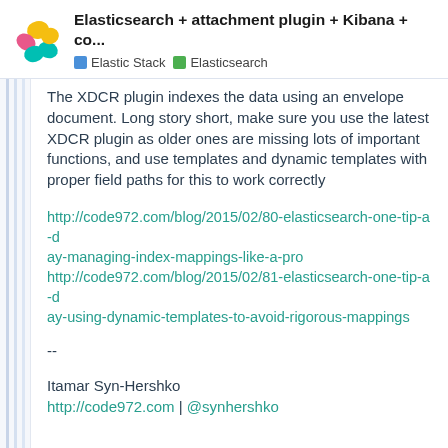Elasticsearch + attachment plugin + Kibana + co... | Elastic Stack | Elasticsearch
The XDCR plugin indexes the data using an envelope document. Long story short, make sure you use the latest XDCR plugin as older ones are missing lots of important functions, and use templates and dynamic templates with proper field paths for this to work correctly
http://code972.com/blog/2015/02/80-elasticsearch-one-tip-a-day-managing-index-mappings-like-a-pro http://code972.com/blog/2015/02/81-elasticsearch-one-tip-a-day-using-dynamic-templates-to-avoid-rigorous-mappings
--
Itamar Syn-Hershko
http://code972.com | @synhershko